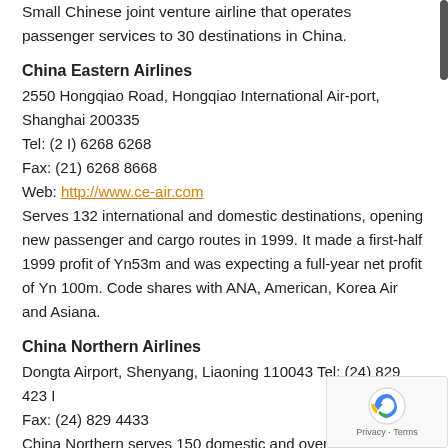Small Chinese joint venture airline that operates passenger services to 30 destinations in China.
China Eastern Airlines
2550 Hongqiao Road, Hongqiao International Air-port, Shanghai 200335
Tel: (2 I) 6268 6268
Fax: (21) 6268 8668
Web: http://www.ce-air.com
Serves 132 international and domestic destinations, opening new passenger and cargo routes in 1999. It made a first-half 1999 profit of Yn53m and was expecting a full-year net profit of Yn 100m. Code shares with ANA, American, Korea Air and Asiana.
China Northern Airlines
Dongta Airport, Shenyang, Liaoning 110043 Tel: (24) 829 423 I
Fax: (24) 829 4433
China Northern serves 150 domestic and overseas destinations. It also operates charter flights that serve